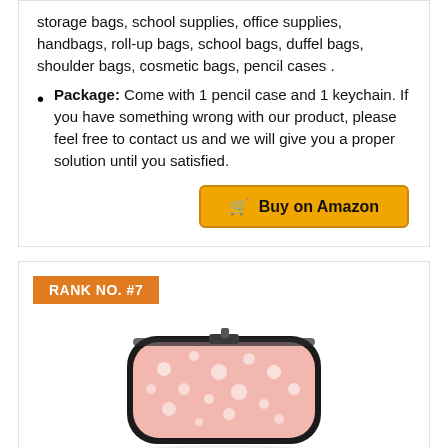storage bags, school supplies, office supplies, handbags, roll-up bags, school bags, duffel bags, shoulder bags, cosmetic bags, pencil cases .
Package: Come with 1 pencil case and 1 keychain. If you have something wrong with our product, please feel free to contact us and we will give you a proper solution until you satisfied.
Buy on Amazon
RANK NO. #7
[Figure (photo): A pink pencil case with Hello Kitty pattern design, rectangular with rounded corners and a black zipper]